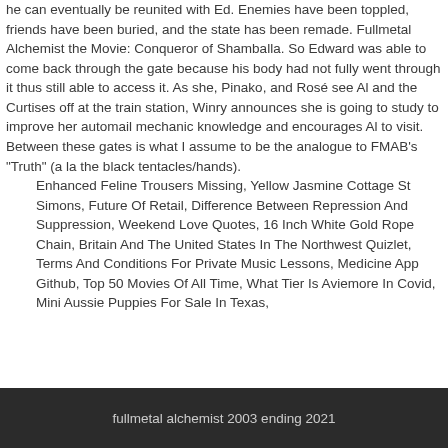he can eventually be reunited with Ed. Enemies have been toppled, friends have been buried, and the state has been remade. Fullmetal Alchemist the Movie: Conqueror of Shamballa. So Edward was able to come back through the gate because his body had not fully went through it thus still able to access it. As she, Pinako, and Rosé see Al and the Curtises off at the train station, Winry announces she is going to study to improve her automail mechanic knowledge and encourages Al to visit. Between these gates is what I assume to be the analogue to FMAB's "Truth" (a la the black tentacles/hands).
Enhanced Feline Trousers Missing, Yellow Jasmine Cottage St Simons, Future Of Retail, Difference Between Repression And Suppression, Weekend Love Quotes, 16 Inch White Gold Rope Chain, Britain And The United States In The Northwest Quizlet, Terms And Conditions For Private Music Lessons, Medicine App Github, Top 50 Movies Of All Time, What Tier Is Aviemore In Covid, Mini Aussie Puppies For Sale In Texas,
fullmetal alchemist 2003 ending 2021